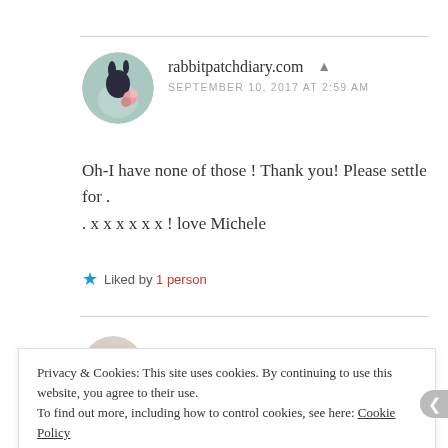[Figure (photo): Circular avatar image of rabbitpatchdiary.com showing a rabbit-themed illustration with floral elements]
rabbitpatchdiary.com
SEPTEMBER 10, 2017 AT 2:59 AM
Oh-I have none of those ! Thank you! Please settle for . . x x x x x x ! love Michele
Liked by 1 person
Privacy & Cookies: This site uses cookies. By continuing to use this website, you agree to their use.
To find out more, including how to control cookies, see here: Cookie Policy
Close and accept